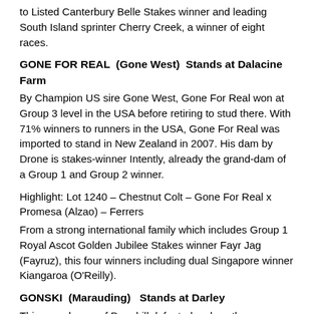to Listed Canterbury Belle Stakes winner and leading South Island sprinter Cherry Creek, a winner of eight races.
GONE FOR REAL  (Gone West)  Stands at Dalacine Farm
By Champion US sire Gone West, Gone For Real won at Group 3 level in the USA before retiring to stud there. With 71% winners to runners in the USA, Gone For Real was imported to stand in New Zealand in 2007. His dam by Drone is stakes-winner Intently, already the grand-dam of a Group 1 and Group 2 winner.
Highlight: Lot 1240 – Chestnut Colt – Gone For Real x Promesa (Alzao) – Ferrers
From a strong international family which includes Group 1 Royal Ascot Golden Jubilee Stakes winner Fayr Jag (Fayruz), this four winners including dual Singapore winner Kiangaroa (O'Reilly).
GONSKI  (Marauding)   Stands at Darley
This speedy son of Danehill defeated no less than seven Group 1 winners in his eight start career including the likes of Stratum, Perfectly Ready, and Red Dazzler. From a speed oriented family which includes the likes of Schubert and leading sire Lion Hunter, Gonski himself is a half-brother to dual Group 1 winner Recast.